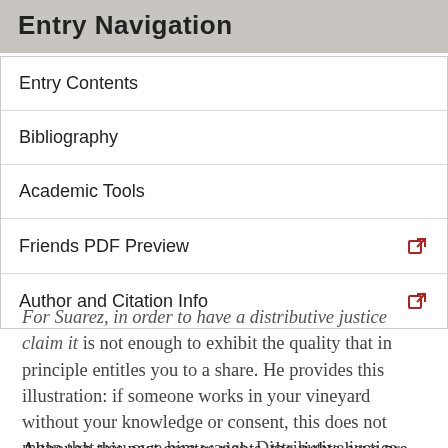Entry Navigation
Entry Contents
Bibliography
Academic Tools
Friends PDF Preview
Author and Citation Info
For Suarez, in order to have a distributive justice claim it is not enough to exhibit the quality that in principle entitles you to a share. He provides this illustration: if someone works in your vineyard without your knowledge or consent, this does not mean that you owe him wages. Distributive justice requires a background pact between the owner of the common stock (the community) and its members. This pact defines the criteria that allow members to have actionable claims to the receipt of a share of the common stock.
Although this pact creates rights, the rights have pre-